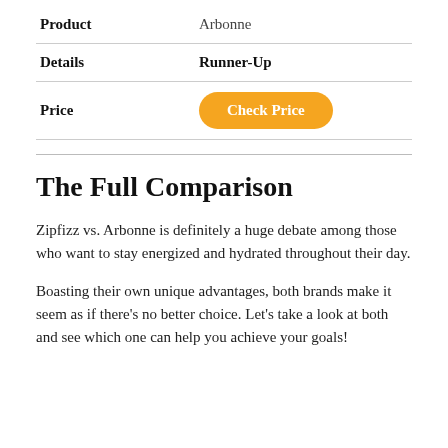| Product | Arbonne |
| --- | --- |
| Details | Runner-Up |
| Price | Check Price |
The Full Comparison
Zipfizz vs. Arbonne is definitely a huge debate among those who want to stay energized and hydrated throughout their day.
Boasting their own unique advantages, both brands make it seem as if there’s no better choice. Let’s take a look at both and see which one can help you achieve your goals!